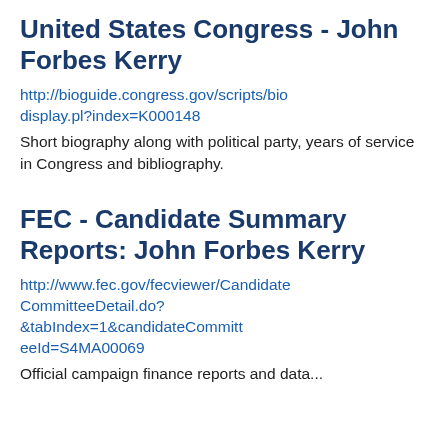United States Congress - John Forbes Kerry
http://bioguide.congress.gov/scripts/biodisplay.pl?index=K000148
Short biography along with political party, years of service in Congress and bibliography.
FEC - Candidate Summary Reports: John Forbes Kerry
http://www.fec.gov/fecviewer/CandidateCommitteeDetail.do?&amp;tabIndex=1&amp;candidateCommitteeId=S4MA00069
Official campaign finance reports and data...